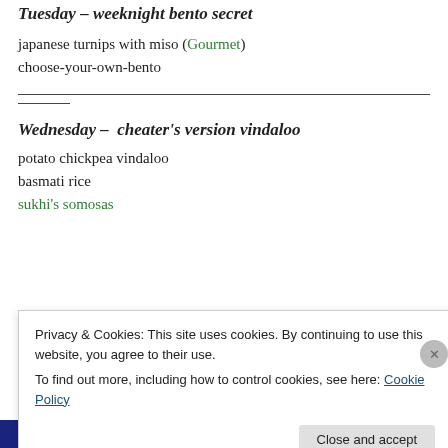Tuesday – weeknight bento secret
japanese turnips with miso (Gourmet)
choose-your-own-bento
Wednesday –  cheater's version vindaloo
potato chickpea vindaloo
basmati rice
sukhi's somosas
Privacy & Cookies: This site uses cookies. By continuing to use this website, you agree to their use.
To find out more, including how to control cookies, see here: Cookie Policy
Close and accept